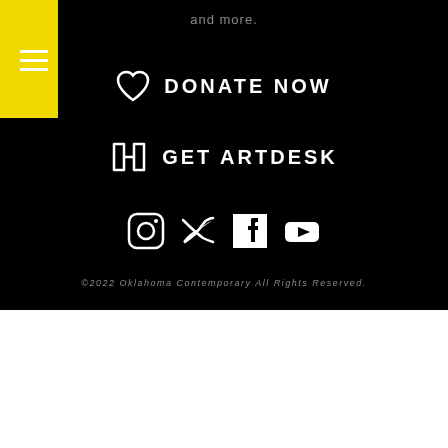and more.
DONATE NOW
GET ARTDESK
[Figure (infographic): Social media icons: Instagram, Twitter, Facebook, YouTube]
©2022 Oklahoma Contemporary All Rights Reserved.
[Figure (logo): Kirkpatrick Family Fund logo with nested square icon and text]
[Figure (infographic): DONATE button in magenta/pink]